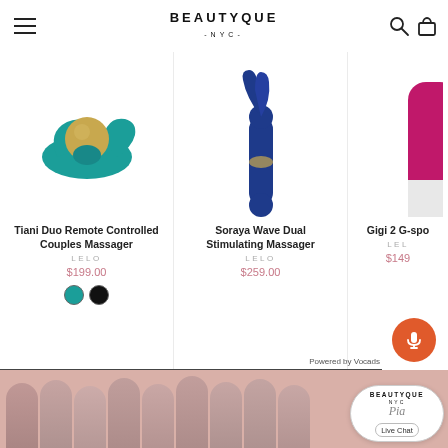BEAUTYQUE NYC
[Figure (photo): Tiani Duo Remote Controlled Couples Massager product image - teal colored device]
Tiani Duo Remote Controlled Couples Massager
LELO
$199.00
[Figure (photo): Soraya Wave Dual Stimulating Massager product image - navy blue device]
Soraya Wave Dual Stimulating Massager
LELO
$259.00
[Figure (photo): Gigi 2 G-spot partially visible product image - pink/white device]
Gigi 2 G-spo
LEL
$149
Powered by Vocads
[Figure (photo): Live chat banner with group of women on pink background with Beautyque NYC live chat widget]